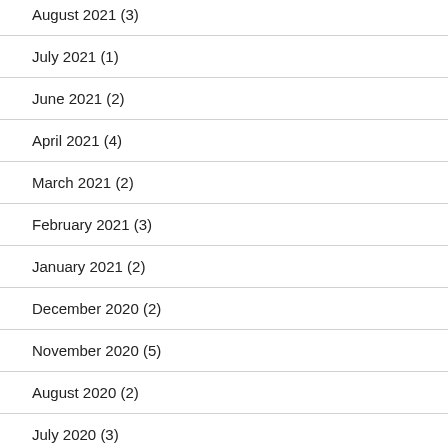August 2021 (3)
July 2021 (1)
June 2021 (2)
April 2021 (4)
March 2021 (2)
February 2021 (3)
January 2021 (2)
December 2020 (2)
November 2020 (5)
August 2020 (2)
July 2020 (3)
June 2020 (2)